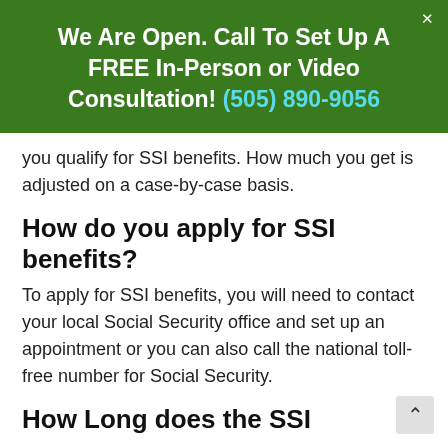We Are Open. Call To Set Up A FREE In-Person or Video Consultation! (505) 890-9056
you qualify for SSI benefits. How much you get is adjusted on a case-by-case basis.
How do you apply for SSI benefits?
To apply for SSI benefits, you will need to contact your local Social Security office and set up an appointment or you can also call the national toll-free number for Social Security.
How Long does the SSI